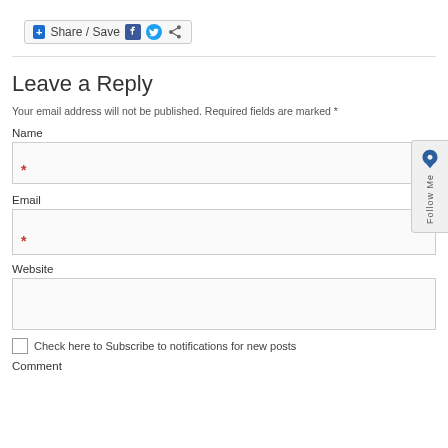[Figure (other): Share/Save button with Facebook, Twitter, and share icons]
Leave a Reply
Your email address will not be published. Required fields are marked *
Name
* (required field marker in Name input)
Email
* (required field marker in Email input)
Website
Check here to Subscribe to notifications for new posts
Comment